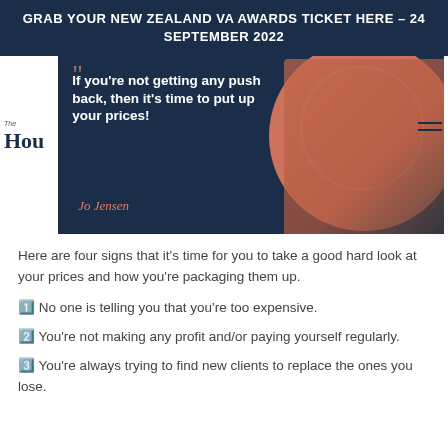GRAB YOUR NEW ZEALAND VA AWARDS TICKET HERE – 24 SEPTEMBER 2022
[Figure (photo): Promotional image with dark navy background and quote: 'If you're not getting any push back, then it's time to put up your prices!' by Jo Jensen, with a photo of a woman in a terracotta top smiling.]
Here are four signs that it's time for you to take a good hard look at your prices and how you're packaging them up.
1️⃣ No one is telling you that you're too expensive.
2️⃣ You're not making any profit and/or paying yourself regularly.
3️⃣ You're always trying to find new clients to replace the ones you lose.